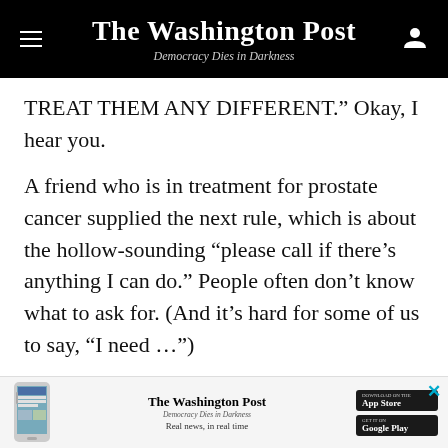The Washington Post — Democracy Dies in Darkness
TREAT THEM ANY DIFFERENT.” Okay, I hear you.
A friend who is in treatment for prostate cancer supplied the next rule, which is about the hollow-sounding “please call if there’s anything I can do.” People often don’t know what to ask for. (And it’s hard for some of us to say, “I need …”)
[How to support someone going through a mentally tough time]
Better to offer something specific: to deliver a dinner,
[Figure (other): Washington Post app advertisement banner with phone image, Washington Post logo, tagline 'Real news, in real time', and App Store / Google Play download buttons]